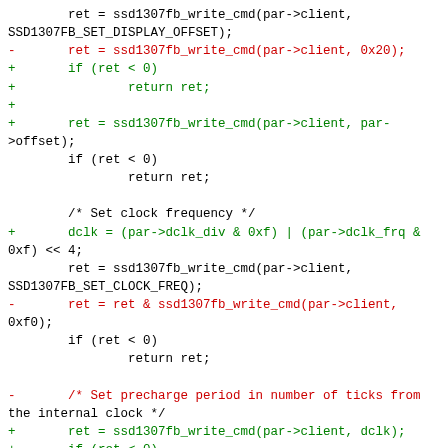Code diff snippet showing changes to ssd1307fb driver initialization, including display offset, clock frequency, and precharge period settings.